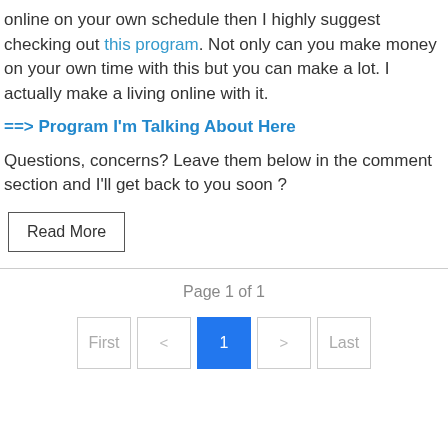online on your own schedule then I highly suggest checking out this program. Not only can you make money on your own time with this but you can make a lot. I actually make a living online with it.
==> Program I'm Talking About Here
Questions, concerns? Leave them below in the comment section and I'll get back to you soon ?
Read More
Page 1 of 1
First < 1 > Last